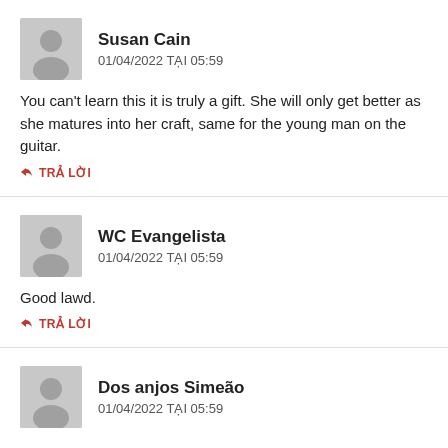Susan Cain
01/04/2022 TẠI 05:59
You can't learn this it is truly a gift. She will only get better as she matures into her craft, same for the young man on the guitar.
TRẢ LỜI
WC Evangelista
01/04/2022 TẠI 05:59
Good lawd.
TRẢ LỜI
Dos anjos Simeão
01/04/2022 TẠI 05:59